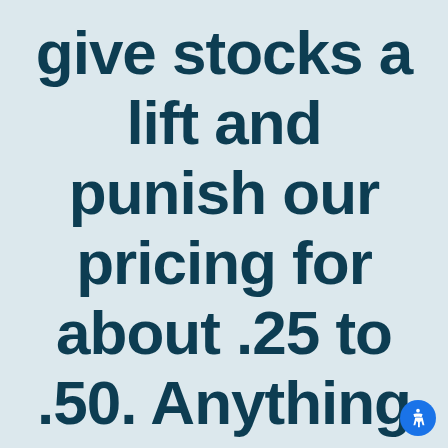give stocks a lift and punish our pricing for about .25 to .50. Anything less than 50K
[Figure (other): Accessibility icon button in bottom right corner]